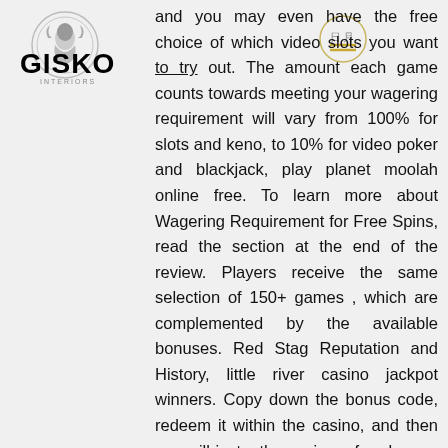[Figure (logo): GISKO logo with circular emblem of a woman's profile and GISKO text in bold]
[Figure (other): Circular navigation icon with horizontal lines (hamburger/menu icon) overlapping text]
and you may even have the free choice of which video slots you want to try out. The amount each game counts towards meeting your wagering requirement will vary from 100% for slots and keno, to 10% for video poker and blackjack, play planet moolah online free. To learn more about Wagering Requirement for Free Spins, read the section at the end of the review. Players receive the same selection of 150+ games , which are complemented by the available bonuses. Red Stag Reputation and History, little river casino jackpot winners. Copy down the bonus code, redeem it within the casino, and then you will instantly receive a free bonus. What is the casino code for free money, dc universe online more skill slots. No Deposit Casino Explained. Playing games online is becoming a hugely popular pastime, online casino with best odds. What is a deposit bonus? A deposit bonus is offered by online